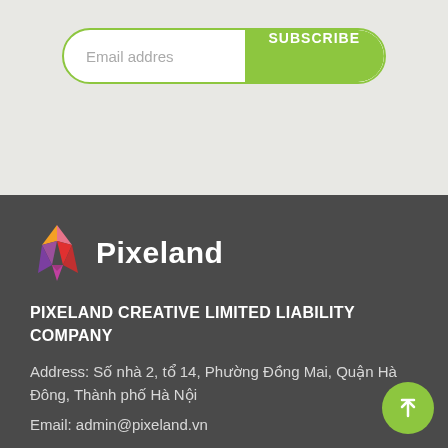[Figure (other): Email subscription form with 'Email address' placeholder text input and a green 'SUBSCRIBE' button, inside a green-bordered pill-shaped container]
[Figure (logo): Pixeland logo: colorful geometric crystal/gem shape in pink, orange, purple, and red, next to the text 'Pixeland' in white bold font]
PIXELAND CREATIVE LIMITED LIABILITY COMPANY
Address: Số nhà 2, tổ 14, Phường Đồng Mai, Quận Hà Đông, Thành phố Hà Nội
Email: admin@pixeland.vn